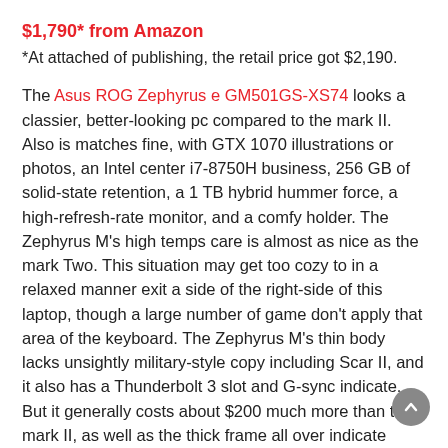$1,790* from Amazon
*At attached of publishing, the retail price got $2,190.
The Asus ROG Zephyrus e GM501GS-XS74 looks a classier, better-looking pc compared to the mark II. Also is matches fine, with GTX 1070 illustrations or photos, an Intel center i7-8750H business, 256 GB of solid-state retention, a 1 TB hybrid hummer force, a high-refresh-rate monitor, and a comfy holder. The Zephyrus M's high temps care is almost as nice as the mark Two. This situation may get too cozy to in a relaxed manner exit a side of the right-side of this laptop, though a large number of game don’t apply that area of the keyboard. The Zephyrus M’s thin body lacks unsightly military-style copy including Scar II, and it also has a Thunderbolt 3 slot and G-sync indicate. But it generally costs about $200 much more than the mark II, as well as the thick frame all over indicate appears ancient and increases the entire height and width of the Zephyrus by about an inch.